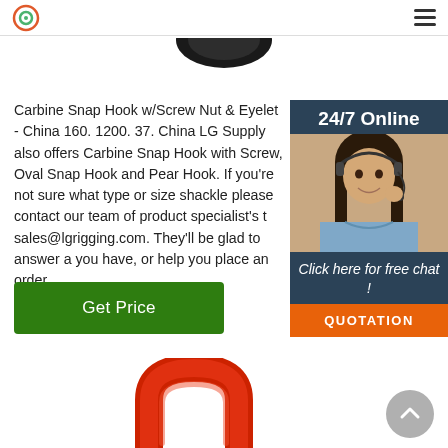LG Supply logo and navigation menu
[Figure (photo): Partial view of a black carbine snap hook from above, cropped at the top of the page]
Carbine Snap Hook w/Screw Nut & Eyelet - China 160. 1200. 37. China LG Supply also offers Carbine Snap Hook with Screw, Oval Snap Hook and Pear Hook. If you're not sure what type or size shackle please contact our team of product specialist's t sales@lgrigging.com. They'll be glad to answer a you have, or help you place an order.
[Figure (photo): 24/7 Online customer service representative, a woman wearing a headset and smiling, with dark hair]
24/7 Online
Click here for free chat !
QUOTATION
[Figure (photo): Green Get Price button]
[Figure (photo): Red painted bow shackle / safety shackle, partially visible at bottom of page]